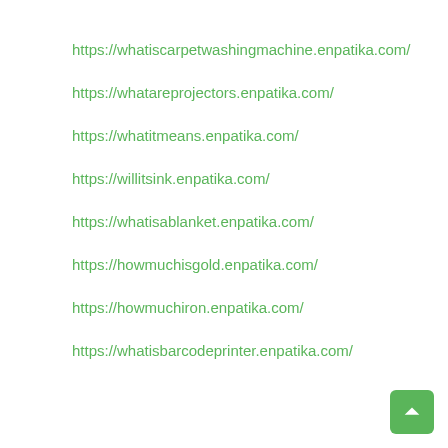https://whatiscarpetwashingmachine.enpatika.com/
https://whatareprojectors.enpatika.com/
https://whatitmeans.enpatika.com/
https://willitsink.enpatika.com/
https://whatisablanket.enpatika.com/
https://howmuchisgold.enpatika.com/
https://howmuchiron.enpatika.com/
https://whatisbarcodeprinter.enpatika.com/